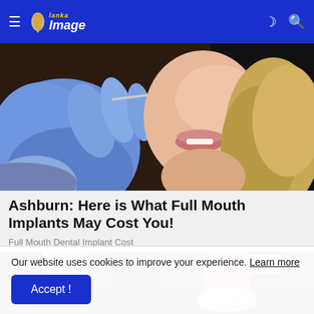Lanka Image
[Figure (photo): Close-up of a dentist in blue gloves using a dental tool near a patient's mouth, patient has blonde wavy hair]
Ashburn: Here is What Full Mouth Implants May Cost You!
Full Mouth Dental Implant Cost
[Figure (photo): Two side-by-side images showing lower body shots, left shows gray trousers and a heel, right shows a person's ankle and white sneaker with a gold watch accent]
Our website uses cookies to improve your experience. Learn more
Accept !